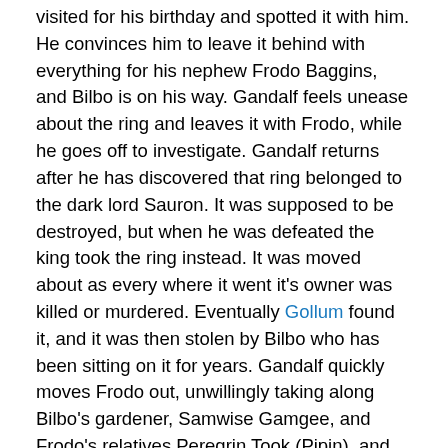visited for his birthday and spotted it with him. He convinces him to leave it behind with everything for his nephew Frodo Baggins, and Bilbo is on his way. Gandalf feels unease about the ring and leaves it with Frodo, while he goes off to investigate. Gandalf returns after he has discovered that ring belonged to the dark lord Sauron. It was supposed to be destroyed, but when he was defeated the king took the ring instead. It was moved about as every where it went it's owner was killed or murdered. Eventually Gollum found it, and it was then stolen by Bilbo who has been sitting on it for years. Gandalf quickly moves Frodo out, unwillingly taking along Bilbo's gardener, Samwise Gamgee, and Frodo's relatives Peregrin Took (Pipin), and Meriadoc Brandybuck (Merry). The group splits off from Gandalf and are set to meet up with him, after Gandalf questions his old teacher Saruman, who unbeknownst to Gandalf has become evil. Frodo is